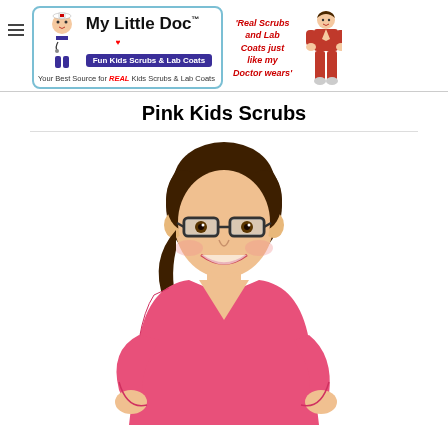[Figure (logo): My Little Doc logo with cartoon doctor character, blue border, purple subtitle bar reading 'Fun Kids Scrubs & Lab Coats', and tagline 'Your Best Source for REAL Kids Scrubs & Lab Coats']
[Figure (photo): Girl in red scrubs posing with text 'Real Scrubs and Lab Coats just like my Doctor wears']
Pink Kids Scrubs
[Figure (photo): Young girl with glasses wearing pink scrubs top, smiling, posing with hands on hips]